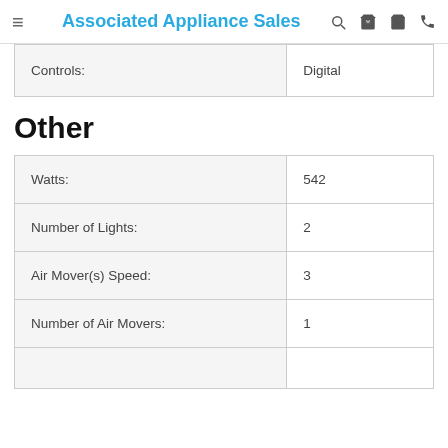Associated Appliance Sales
| Controls: | Digital |
Other
| Watts: | 542 |
| Number of Lights: | 2 |
| Air Mover(s) Speed: | 3 |
| Number of Air Movers: | 1 |